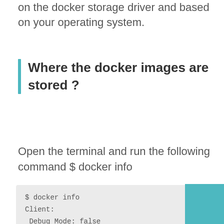on the docker storage driver and based on your operating system.
Where the docker images are stored ?
Open the terminal and run the following command $ docker info
[Figure (screenshot): Terminal code block showing: $ docker info
Client:
 Debug Mode: false

Server:
 --------------
 --------------
 Server Version: 18.09.6]